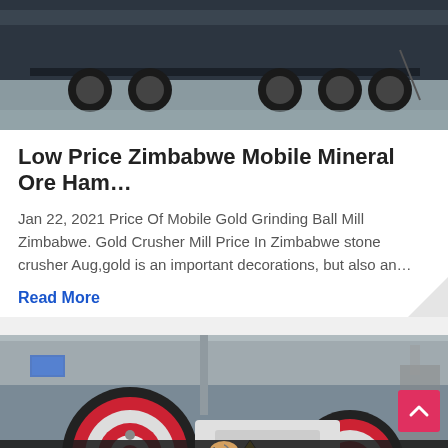[Figure (photo): Industrial scene showing heavy vehicle trailer undercarriage in a warehouse/factory floor]
Low Price Zimbabwe Mobile Mineral Ore Ham…
Jan 22, 2021 Price Of Mobile Gold Grinding Ball Mill Zimbabwe. Gold Crusher Mill Price In Zimbabwe stone crusher Aug,gold is an important decorations, but also an…
Read More
[Figure (photo): Industrial machinery — large jaw crusher with red and white wheels/flywheels in a factory setting]
Leave Message   Chat Online